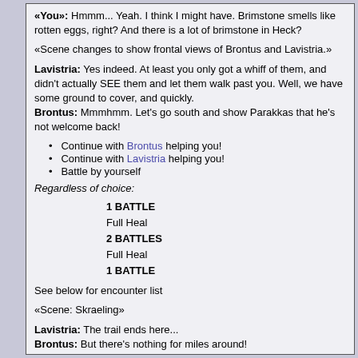«You»: Hmmm... Yeah. I think I might have. Brimstone smells like rotten eggs, right? And there is a lot of brimstone in Heck?
«Scene changes to show frontal views of Brontus and Lavistria.»
Lavistria: Yes indeed. At least you only got a whiff of them, and didn't actually SEE them and let them walk past you. Well, we have some ground to cover, and quickly.
Brontus: Mmmhmm. Let's go south and show Parakkas that he's not welcome back!
Continue with Brontus helping you!
Continue with Lavistria helping you!
Battle by yourself
Regardless of choice:
1 BATTLE
Full Heal
2 BATTLES
Full Heal
1 BATTLE
See below for encounter list
«Scene: Skraeling»
Lavistria: The trail ends here...
Brontus: But there's nothing for miles around!
«You»: Well, if you don't see anything UP, look DOWN!
Brontus: I don't see anything ANYWHERE.
«Guard enters.»
Guard: Halt!